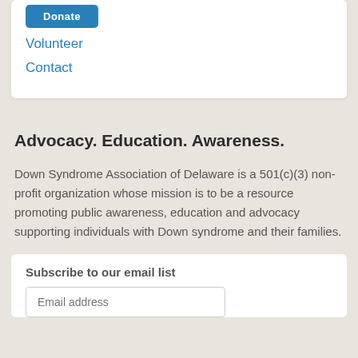Donate
Volunteer
Contact
Advocacy. Education. Awareness.
Down Syndrome Association of Delaware is a 501(c)(3) non-profit organization whose mission is to be a resource promoting public awareness, education and advocacy supporting individuals with Down syndrome and their families.
Subscribe to our email list
Email address